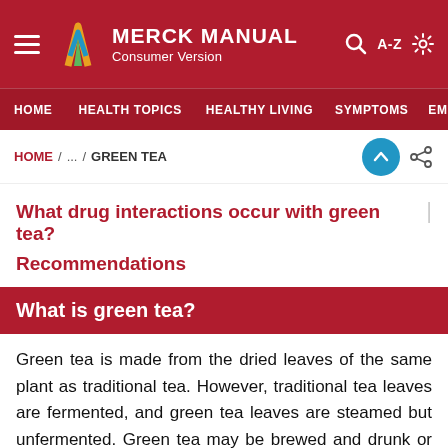MERCK MANUAL Consumer Version
HOME / ... / GREEN TEA
What drug interactions occur with green tea?
Recommendations
What is green tea?
Green tea is made from the dried leaves of the same plant as traditional tea. However, traditional tea leaves are fermented, and green tea leaves are steamed but unfermented. Green tea may be brewed and drunk or ingested in tablet or capsule form. Green tea contains